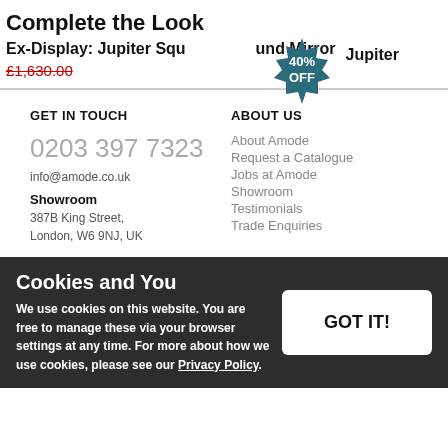Complete the Look
Ex-Display: Jupiter Square Round Mirror | £1,630.00 | 40% OFF
Jupiter
GET IN TOUCH
0203 397 7323
info@amode.co.uk
Showroom
387B King Street,
London, W6 9NJ, UK
ABOUT US
About Amode
Request a Catalogue
Jobs at Amode
Showroom
Testimonials
Trade Enquiries
Cookies and You
We use cookies on this website. You are free to manage these via your browser settings at any time. For more about how we use cookies, please see our Privacy Policy.
GOT IT!